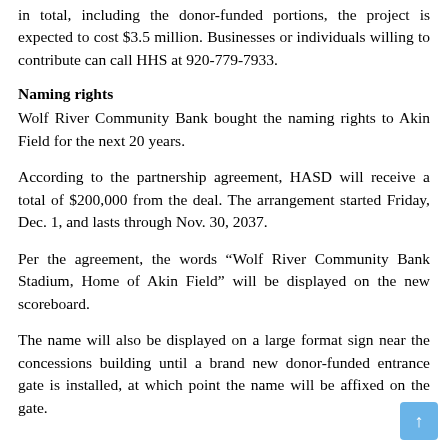in total, including the donor-funded portions, the project is expected to cost $3.5 million. Businesses or individuals willing to contribute can call HHS at 920-779-7933.
Naming rights
Wolf River Community Bank bought the naming rights to Akin Field for the next 20 years.
According to the partnership agreement, HASD will receive a total of $200,000 from the deal. The arrangement started Friday, Dec. 1, and lasts through Nov. 30, 2037.
Per the agreement, the words “Wolf River Community Bank Stadium, Home of Akin Field” will be displayed on the new scoreboard.
The name will also be displayed on a large format sign near the concessions building until a brand new donor-funded entrance gate is installed, at which point the name will be affixed on the gate.